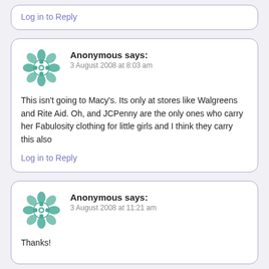Log in to Reply
Anonymous says:
3 August 2008 at 8:03 am
This isn't going to Macy's. Its only at stores like Walgreens and Rite Aid. Oh, and JCPenny are the only ones who carry her Fabulosity clothing for little girls and I think they carry this also
Log in to Reply
Anonymous says:
3 August 2008 at 11:21 am
Thanks!